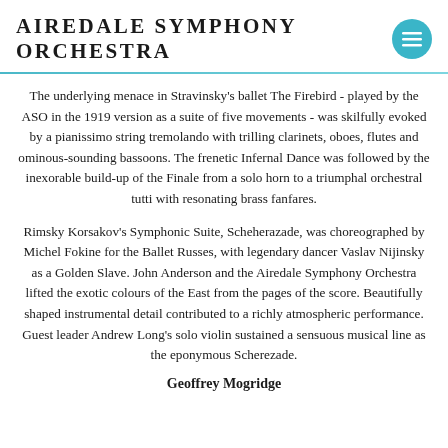Airedale Symphony Orchestra
The underlying menace in Stravinsky's ballet The Firebird - played by the ASO in the 1919 version as a suite of five movements - was skilfully evoked by a pianissimo string tremolando with trilling clarinets, oboes, flutes and ominous-sounding bassoons. The frenetic Infernal Dance was followed by the inexorable build-up of the Finale from a solo horn to a triumphal orchestral tutti with resonating brass fanfares.
Rimsky Korsakov's Symphonic Suite, Scheherazade, was choreographed by Michel Fokine for the Ballet Russes, with legendary dancer Vaslav Nijinsky as a Golden Slave. John Anderson and the Airedale Symphony Orchestra lifted the exotic colours of the East from the pages of the score. Beautifully shaped instrumental detail contributed to a richly atmospheric performance. Guest leader Andrew Long's solo violin sustained a sensuous musical line as the eponymous Scherezade.
Geoffrey Mogridge